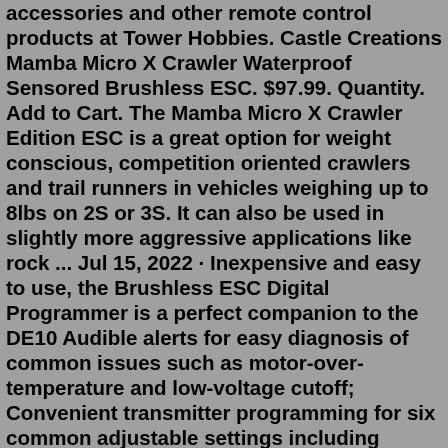accessories and other remote control products at Tower Hobbies. Castle Creations Mamba Micro X Crawler Waterproof Sensored Brushless ESC. $97.99. Quantity. Add to Cart. The Mamba Micro X Crawler Edition ESC is a great option for weight conscious, competition oriented crawlers and trail runners in vehicles weighing up to 8lbs on 2S or 3S. It can also be used in slightly more aggressive applications like rock ... Jul 15, 2022 · Inexpensive and easy to use, the Brushless ESC Digital Programmer is a perfect companion to the DE10 Audible alerts for easy diagnosis of common issues such as motor-over-temperature and low-voltage cutoff; Convenient transmitter programming for six common adjustable settings including cutoff voltage and drag brake; Easily tune and update ESC ... Castle Creations, Inc. is a global manufacturer that has challenged the limits of technology since 1997. Based in Olathe, KS USA, Castle continues to pioneer high-performance electronic speed controls (ESC) and brushless DC motors (BLDC) for our clients. The Micro X Crawler